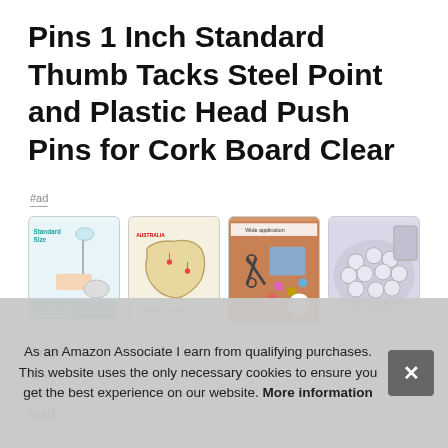Pins 1 Inch Standard Thumb Tacks Steel Point and Plastic Head Push Pins for Cork Board Clear
#ad
[Figure (photo): Four product thumbnail images of push pins: (1) transparent plastic head pins with 'Standard Size' and 'Cute Transparent Plastic Heads Pins' labels; (2) map of Australia with pins placed, labeled 'Pointed & Durable'; (3) variety of decorative push pins with scissors, labeled 'Wide application'; (4) close-up of clear/transparent push pins in a pile.]
Outr
app
mad
mad
As an Amazon Associate I earn from qualifying purchases. This website uses the only necessary cookies to ensure you get the best experience on our website. More information